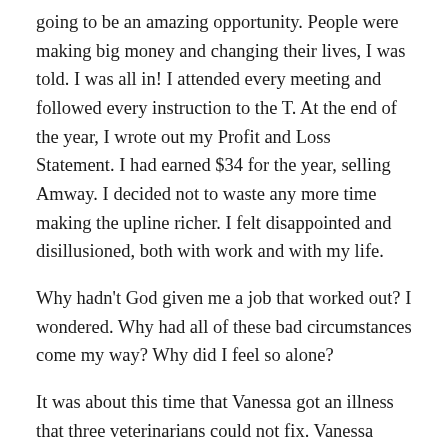going to be an amazing opportunity. People were making big money and changing their lives, I was told. I was all in! I attended every meeting and followed every instruction to the T. At the end of the year, I wrote out my Profit and Loss Statement. I had earned $34 for the year, selling Amway. I decided not to waste any more time making the upline richer. I felt disappointed and disillusioned, both with work and with my life.
Why hadn't God given me a job that worked out? I wondered. Why had all of these bad circumstances come my way? Why did I feel so alone?
It was about this time that Vanessa got an illness that three veterinarians could not fix. Vanessa died. I cried and cried. Why should such a beautiful, innocent creature die?
Why was life so hard and filled with sadness? Why didn't God, who is all-powerful, help out? I got out the phone book and